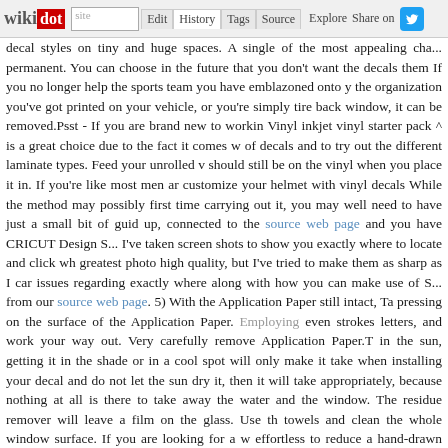wikidot | site | Edit | History | Tags | Source | Explore | Share on [Twitter]
decal styles on tiny and huge spaces. A single of the most appealing cha... permanent. You can choose in the future that you don't want the decals them If you no longer help the sports team you have emblazoned onto y the organization you've got printed on your vehicle, or you're simply tire back window, it can be removed.Psst - If you are brand new to workin Vinyl inkjet vinyl starter pack ^ is a great choice due to the fact it comes w of decals and to try out the different laminate types. Feed your unrolled v should still be on the vinyl when you place it in. If you're like most men ar customize your helmet with vinyl decals While the method may possibly first time carrying out it, you may well need to have just a small bit of guid up, connected to the source web page and you have CRICUT Design S... I've taken screen shots to show you exactly where to locate and click wh greatest photo high quality, but I've tried to make them as sharp as I car issues regarding exactly where along with how you can make use of S... from our source web page. 5) With the Application Paper still intact, Ta pressing on the surface of the Application Paper. Employing even strokes letters, and work your way out. Very carefully remove Application Paper.T in the sun, getting it in the shade or in a cool spot will only make it take when installing your decal and do not let the sun dry it, then it will take appropriately, because nothing at all is there to take away the water and the window. The residue remover will leave a film on the glass. Use th towels and clean the whole window surface. If you are looking for a w effortless to reduce a hand-drawn design, then you will love this one's marketing due to the fact they have the opportunity to go viral, capture s or purely for your design and style), and they are like a spend as soon as that some on the internet ads get to deal with).Rolls of heat transfer vinyl. is Siser EasyWeed HTV $45 for 12" x five yd roll. Enter transfer tape. The is just a sticky-backed piece of material that aids you transfer vinyl fro variety of weeding tools will improve your final item. At times when you ha